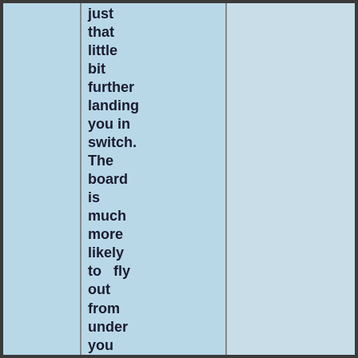just that little bit further landing you in switch. The board is much more likely to fly out from under you when landing if this happens so watch out.